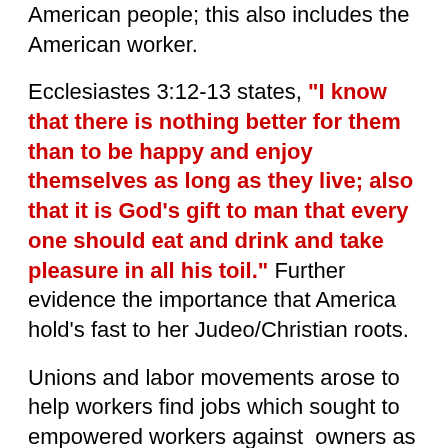American people; this also includes the American worker.
Ecclesiastes 3:12-13 states, "I know that there is nothing better for them than to be happy and enjoy themselves as long as they live; also that it is God's gift to man that every one should eat and drink and take pleasure in all his toil." Further evidence the importance that America hold's fast to her Judeo/Christian roots.
Unions and labor movements arose to help workers find jobs which sought to empowered workers against owners as cities became metropolises. The American workers